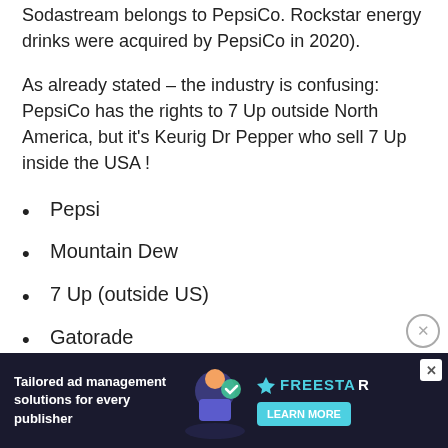Sodastream belongs to PepsiCo. Rockstar energy drinks were acquired by PepsiCo in 2020).
As already stated – the industry is confusing: PepsiCo has the rights to 7 Up outside North America, but it's Keurig Dr Pepper who sell 7 Up inside the USA !
Pepsi
Mountain Dew
7 Up (outside US)
Gatorade
Als...m
[Figure (screenshot): Advertisement banner: 'Tailored ad management solutions for every publisher' with FREESTAR branding and LEARN MORE button]